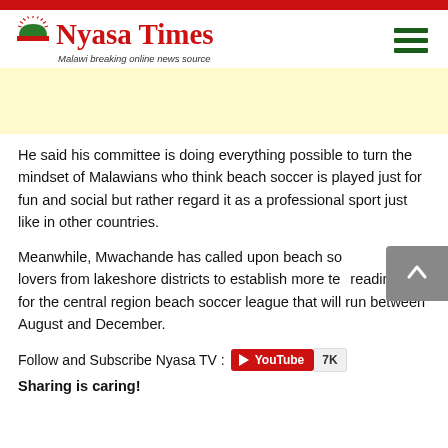Nyasa Times — Malawi breaking online news source
[Figure (other): Yellow advertisement banner]
He said his committee is doing everything possible to turn the mindset of Malawians who think beach soccer is played just for fun and social but rather regard it as a professional sport just like in other countries.
Meanwhile, Mwachande has called upon beach soccer lovers from lakeshore districts to establish more teams in readiness for the central region beach soccer league that will run between August and December.
Follow and Subscribe Nyasa TV : YouTube 7K
Sharing is caring!